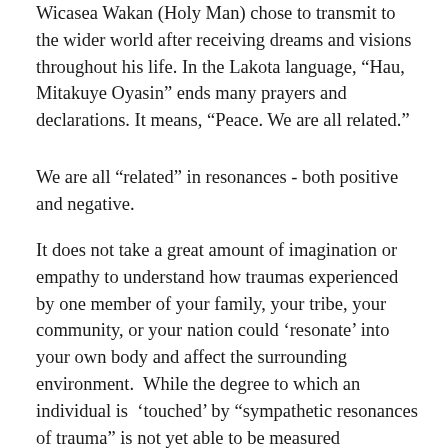Wicasea Wakan (Holy Man) chose to transmit to the wider world after receiving dreams and visions throughout his life. In the Lakota language, “Hau, Mitakuye Oyasin” ends many prayers and declarations. It means, “Peace. We are all related.”
We are all “related” in resonances - both positive and negative.
It does not take a great amount of imagination or empathy to understand how traumas experienced by one member of your family, your tribe, your community, or your nation could ‘resonate’ into your own body and affect the surrounding environment. While the degree to which an individual is ‘touched’ by "sympathetic resonances of trauma" is not yet able to be measured completely or ‘scientifically’; the difference in health indicator rates which account for